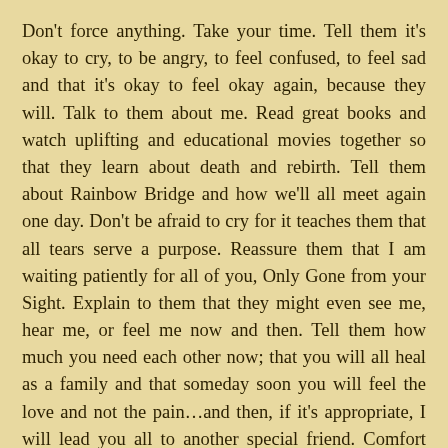Don't force anything. Take your time. Tell them it's okay to cry, to be angry, to feel confused, to feel sad and that it's okay to feel okay again, because they will. Talk to them about me. Read great books and watch uplifting and educational movies together so that they learn about death and rebirth. Tell them about Rainbow Bridge and how we'll all meet again one day. Don't be afraid to cry for it teaches them that all tears serve a purpose. Reassure them that I am waiting patiently for all of you, Only Gone from your Sight. Explain to them that they might even see me, hear me, or feel me now and then. Tell them how much you need each other now; that you will all heal as a family and that someday soon you will feel the love and not the pain…and then, if it's appropriate, I will lead you all to another special friend. Comfort them, love them and teach them faith through the process. Reassure them they are not alone.
Listen to the words you say. The very words you say to